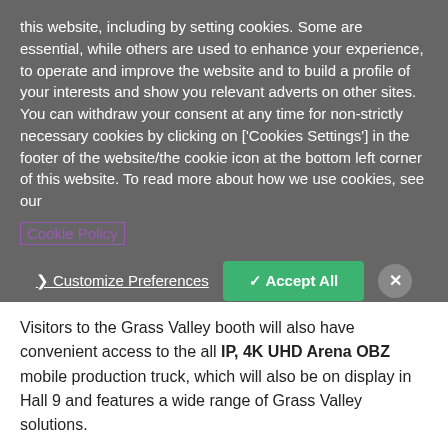this website, including by setting cookies. Some are essential, while others are used to enhance your experience, to operate and improve the website and to build a profile of your interests and show you relevant adverts on other sites. You can withdraw your consent at any time for non-strictly necessary cookies by clicking on ['Cookies Settings'] in the footer of the website/the cookie icon at the bottom left corner of this website. To read more about how we use cookies, see our Cookie Policy
Customize Preferences   ✓ Accept All   ×
Visitors to the Grass Valley booth will also have convenient access to the all IP, 4K UHD Arena OBZ mobile production truck, which will also be on display in Hall 9 and features a wide range of Grass Valley solutions.
###